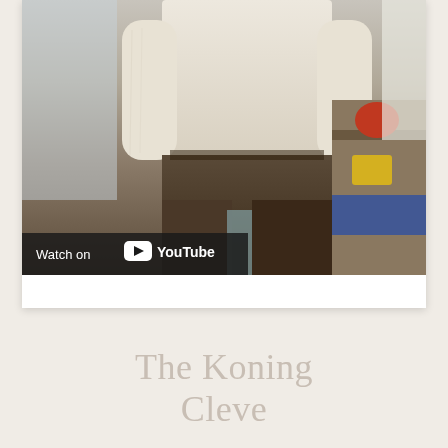[Figure (screenshot): A YouTube video thumbnail showing a person standing indoors wearing a cream/white sweater and dark brown trousers. The lower-left of the image has a dark semi-transparent bar with 'Watch on YouTube' text and the YouTube logo.]
The Koning Cleve